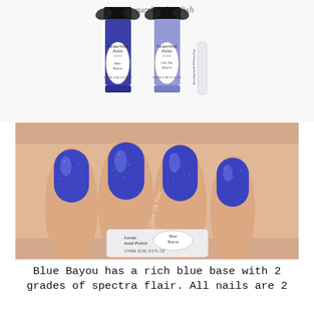[Figure (photo): Two Lacquerhead Polish nail polish bottles (Blue Bayou and Like You Mean It) with black bows, plus a small clear glitter tube labeled Nourishing Cuticle Oil Lemon Sugar, on white background. Script text at top reads Lacquerhead Polish.]
[Figure (photo): Close-up of a hand with blue glitter nail polish (Blue Bayou by Lacquerhead Polish). The nail polish bottle label is visible at the bottom of the image. Watermark reads Oh Three Oh Four.]
Blue Bayou has a rich blue base with 2 grades of spectra flair. All nails are 2